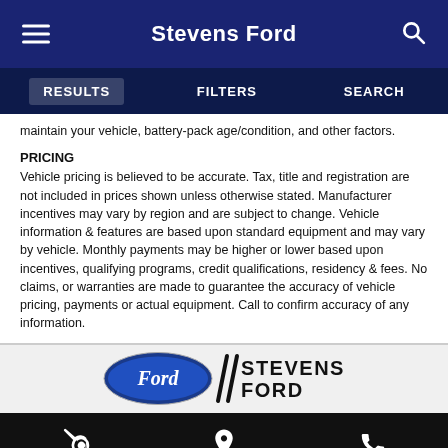Stevens Ford
RESULTS   FILTERS   SEARCH
maintain your vehicle, battery-pack age/condition, and other factors.
PRICING
Vehicle pricing is believed to be accurate. Tax, title and registration are not included in prices shown unless otherwise stated. Manufacturer incentives may vary by region and are subject to change. Vehicle information & features are based upon standard equipment and may vary by vehicle. Monthly payments may be higher or lower based upon incentives, qualifying programs, credit qualifications, residency & fees. No claims, or warranties are made to guarantee the accuracy of vehicle pricing, payments or actual equipment. Call to confirm accuracy of any information.
[Figure (logo): Ford oval logo and Stevens Ford dealership logo with double slash mark]
Wrench icon, Location pin icon, Phone icon